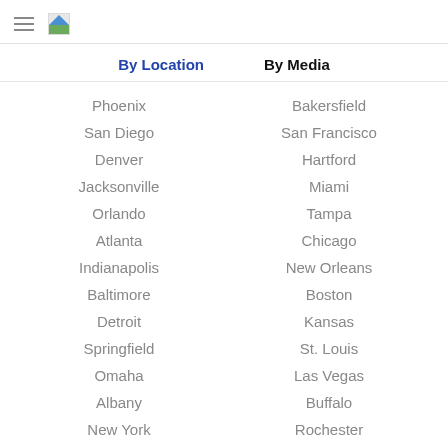By Location    By Media
Phoenix
San Diego
Denver
Jacksonville
Orlando
Atlanta
Indianapolis
Baltimore
Detroit
Springfield
Omaha
Albany
New York
Charlotte
Bakersfield
San Francisco
Hartford
Miami
Tampa
Chicago
New Orleans
Boston
Kansas
St. Louis
Las Vegas
Buffalo
Rochester
Raleigh